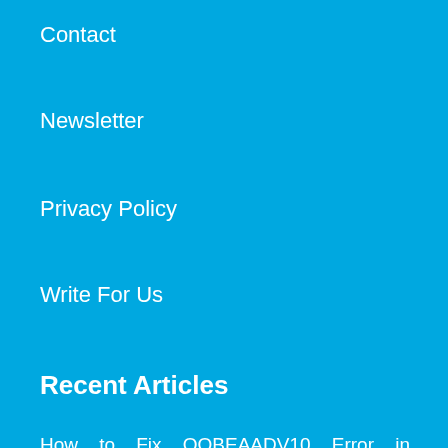Contact
Newsletter
Privacy Policy
Write For Us
Recent Articles
How to Fix OOBEAADV10 Error in Windows 10 (Solved)
How to Fix Win32bridge.Server.exe Error in Windows 11 or 10 (Solved!)
Fix BitLocker Recovery screen on Startup in Windows 11 or 10